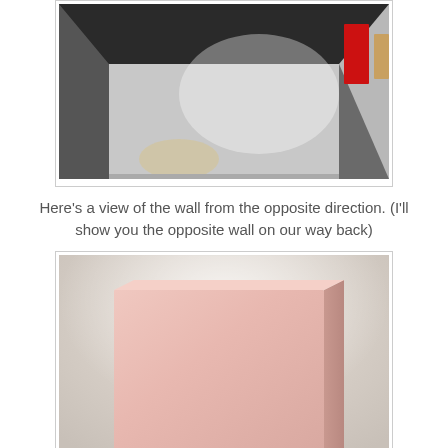[Figure (photo): A hallway or corridor of an art gallery with artworks hung on a white wall. A red artwork and a framed piece are visible on the right wall. The floor is shiny and reflective.]
Here's a view of the wall from the opposite direction. (I'll show you the opposite wall on our way back)
[Figure (photo): A large square monochromatic pale pink canvas or panel displayed on a black pedestal against a light textured wall. The piece is minimalist art, a solid light pink square.]